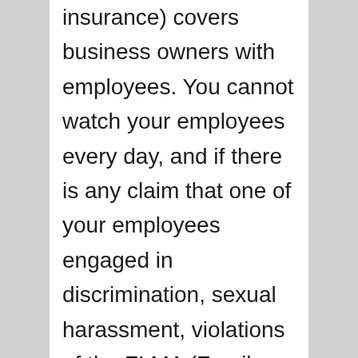insurance) covers business owners with employees. You cannot watch your employees every day, and if there is any claim that one of your employees engaged in discrimination, sexual harassment, violations of the FLMA (Family Medical Leave Act), a claim regarding wrongful termination, or something else, this is the insurance that will keep your business safe.
Vehicle insurance for any cars, trucks, vans, or other vehicles that your company rents, leases, borrows or uses.
Data breach insurance is more important now than ever. Your customers/clients expect their information to be kept secure. This type of insurance protects against this